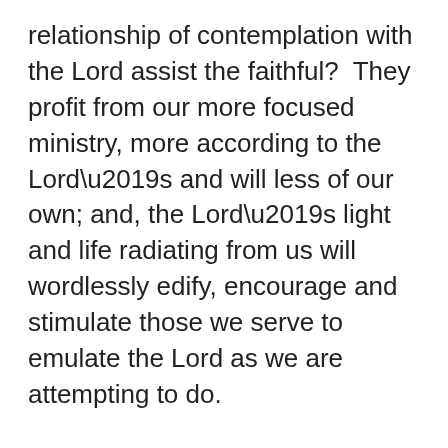relationship of contemplation with the Lord assist the faithful?  They profit from our more focused ministry, more according to the Lord’s and will less of our own; and, the Lord’s light and life radiating from us will wordlessly edify, encourage and stimulate those we serve to emulate the Lord as we are attempting to do.
Your feedback would be of great help to me. I do hope I have been of service to you and the deacon community.